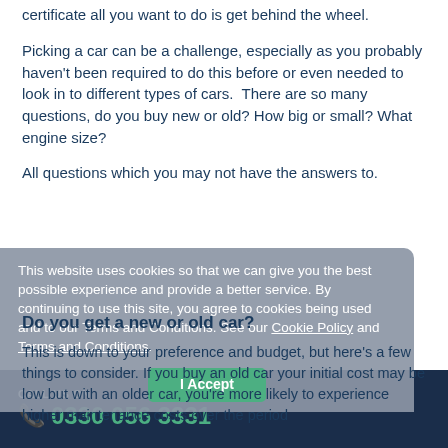certificate all you want to do is get behind the wheel.
Picking a car can be a challenge, especially as you probably haven't been required to do this before or even needed to look in to different types of cars.  There are so many questions, do you buy new or old? How big or small? What engine size?
All questions which you may not have the answers to.
This website uses cookies so that we can give you the best possible experience and provide a better service. By continuing to use this site, you agree to cookies being used and to our Terms and Conditions. See our Cookie Policy and Terms and Conditions.
Do you get a new or old car?
This is down to your preference and budget, but here's a few things to consider. If you buy an old car your initial cost may be low but with an older car, you're more likely to experience higher maintenance costs over the period
CALL US ON 0330 056 3331